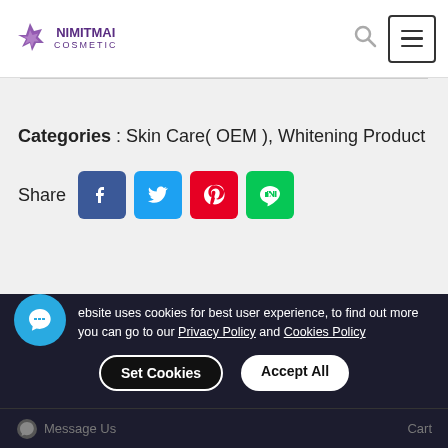NIMITMAI COSMETIC
Categories : Skin Care( OEM ),  Whitening Product
Share
[Figure (screenshot): Social media share buttons: Facebook, Twitter, Pinterest, LINE]
[Figure (other): Scroll to top button (arrow up)]
Product description
website uses cookies for best user experience, to find out more you can go to our Privacy Policy and Cookies Policy
Set Cookies   Accept All
Message Us   Cart